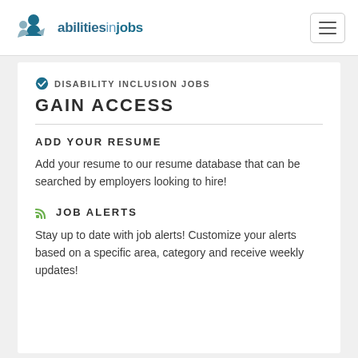abilitiesinjobs
DISABILITY INCLUSION JOBS
GAIN ACCESS
ADD YOUR RESUME
Add your resume to our resume database that can be searched by employers looking to hire!
JOB ALERTS
Stay up to date with job alerts! Customize your alerts based on a specific area, category and receive weekly updates!